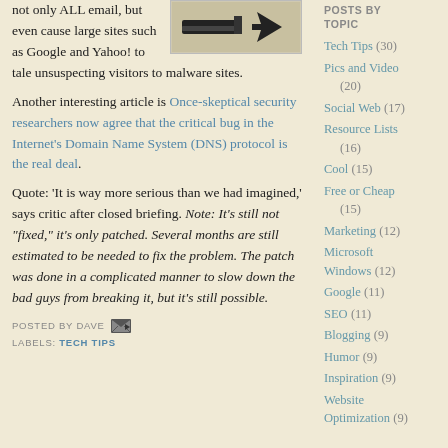[Figure (illustration): Black and white illustration/graphic showing computer-related imagery]
not only ALL email, but even cause large sites such as Google and Yahoo! to tale unsuspecting visitors to malware sites.
Another interesting article is Once-skeptical security researchers now agree that the critical bug in the Internet's Domain Name System (DNS) protocol is the real deal.
Quote: 'It is way more serious than we had imagined,' says critic after closed briefing. Note: It's still not "fixed," it's only patched. Several months are still estimated to be needed to fix the problem. The patch was done in a complicated manner to slow down the bad guys from breaking it, but it's still possible.
POSTED BY DAVE
LABELS: TECH TIPS
POSTS BY TOPIC
Tech Tips (30)
Pics and Video (20)
Social Web (17)
Resource Lists (16)
Cool (15)
Free or Cheap (15)
Marketing (12)
Microsoft Windows (12)
Google (11)
SEO (11)
Blogging (9)
Humor (9)
Inspiration (9)
Website Optimization (9)